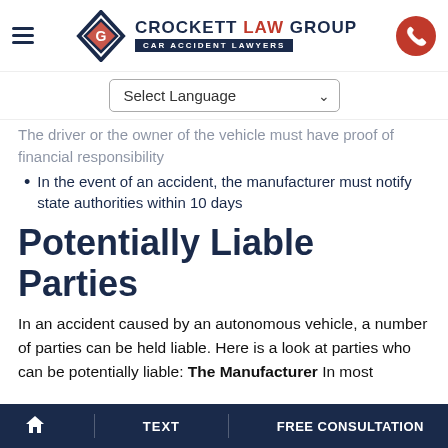[Figure (logo): Crockett Law Group – Car Accident Lawyers logo with diamond-shaped icon in navy and red, company name in navy with LAW in red, and CAR ACCIDENT LAWYERS in white on navy bar]
Select Language
The driver or the owner of the vehicle must have proof of financial responsibility
In the event of an accident, the manufacturer must notify state authorities within 10 days
Potentially Liable Parties
In an accident caused by an autonomous vehicle, a number of parties can be held liable. Here is a look at parties who can be potentially liable: The Manufacturer In most
⌂   TEXT   FREE CONSULTATION